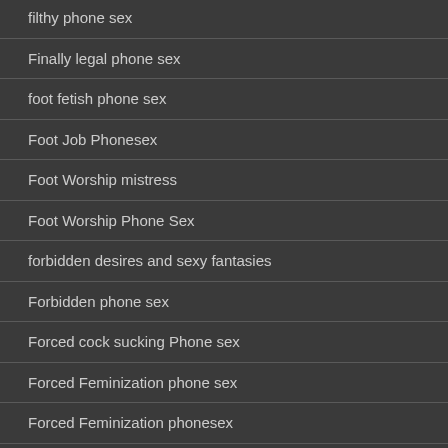filthy phone sex
Finally legal phone sex
foot fetish phone sex
Foot Job Phonesex
Foot Worship mistress
Foot Worship Phone Sex
forbidden desires and sexy fantasies
Forbidden phone sex
Forced cock sucking Phone sex
Forced Feminization phone sex
Forced Feminization phonesex